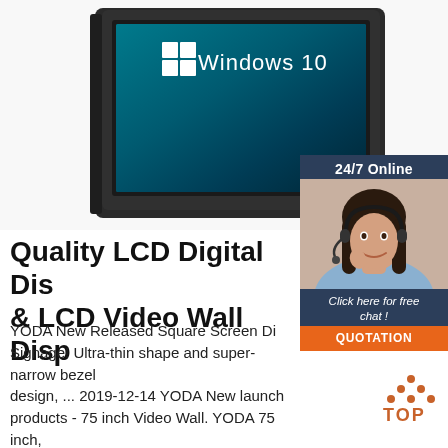[Figure (photo): LCD display/monitor product shown at an angle with Windows 10 logo on screen, dark bezel]
[Figure (screenshot): Chat widget overlay showing 24/7 Online support agent (woman with headset), Click here for free chat, and QUOTATION button]
Quality LCD Digital Display & LCD Video Wall Display
YODA New Released Square Screen Digital Signage! Ultra-thin shape and super-narrow bezel design, ... 2019-12-14 YODA New launch products - 75 inch Video Wall. YODA 75 inch, 1.75mm bezel, 4K UHD LCD Enterprise-grade Display, For Large Video Wall Use. ... 2019-12-11
[Figure (logo): TOP badge - orange/brown dots triangle with TOP text]